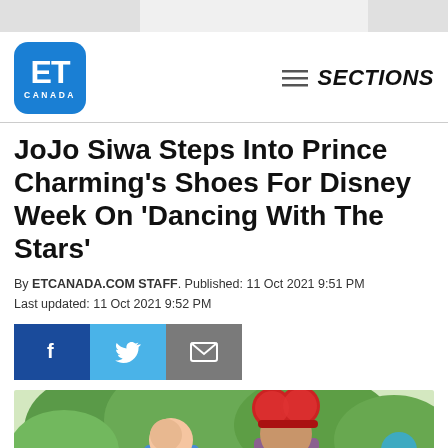[Figure (logo): ET Canada logo - blue rounded square with ET in white bold letters and CANADA underneath]
SECTIONS
JoJo Siwa Steps Into Prince Charming’s Shoes For Disney Week On ‘Dancing With The Stars’
By ETCANADA.COM STAFF. Published: 11 Oct 2021 9:51 PM
Last updated: 11 Oct 2021 9:52 PM
[Figure (other): Social sharing buttons: Facebook (dark blue), Twitter (light blue), Email (grey)]
[Figure (photo): Two women posing outdoors, one wearing red sparkly Mickey Mouse ears, at what appears to be a Disney park with trees in the background]